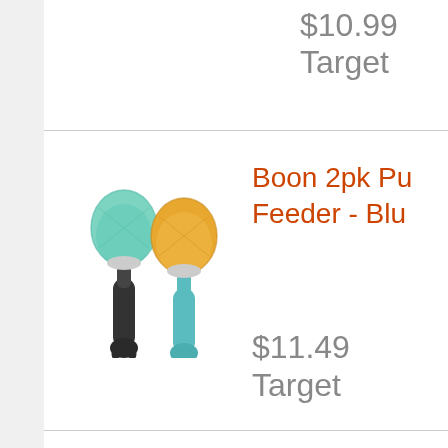$10.99
Target
[Figure (photo): Two baby fruit feeders/pacifiers with silicone mesh pouches - one with dark gray handle and mint green pouch, one with teal handle and yellow-orange pouch]
Boon 2pk Pu... Feeder - Blu...
$11.49
Target
[Figure (photo): Aquaphor Baby Healing Ointment Advanced Therapy tube, white with red and blue label, 7oz]
Aquaphor Ba... Ointment Adv... Skin Protecta... and Diaper R... 7oz